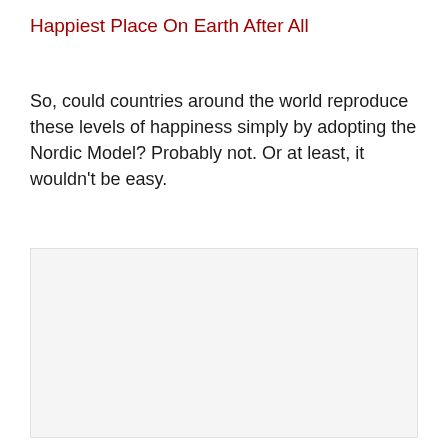Happiest Place On Earth After All
So, could countries around the world reproduce these levels of happiness simply by adopting the Nordic Model? Probably not. Or at least, it wouldn’t be easy.
[Figure (photo): A large light grey/off-white empty rectangular image placeholder box]